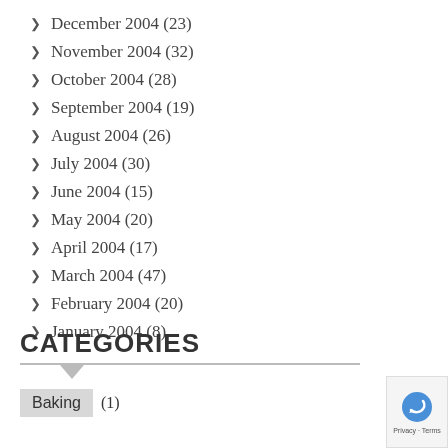December 2004 (23)
November 2004 (32)
October 2004 (28)
September 2004 (19)
August 2004 (26)
July 2004 (30)
June 2004 (15)
May 2004 (20)
April 2004 (17)
March 2004 (47)
February 2004 (20)
January 2004 (8)
CATEGORIES
Baking (1)